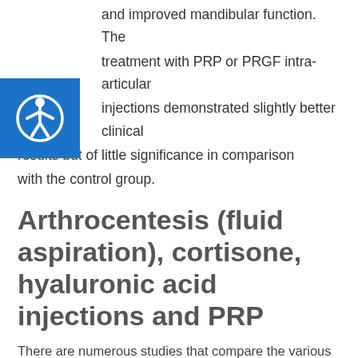and improved mandibular function. The treatment with PRP or PRGF intra-articular injections demonstrated slightly better clinical results but of little significance in comparison with the control group.
Arthrocentesis (fluid aspiration), cortisone, hyaluronic acid injections and PRP
There are numerous studies that compare the various treatments offered for TMJ. A study published in September 2019 (8) suggested that treating patients